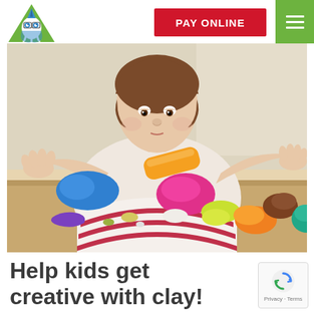[Figure (logo): Children's dental clinic mascot logo — cartoon tooth character with superhero/wizard hat and glasses, green triangular background]
PAY ONLINE
[Figure (photo): Young child with brown hair wearing a red and white striped shirt, playing with colorful modeling clay/playdough on a table. Various bright clay pieces visible: blue, pink, orange, yellow, brown, teal, purple.]
Help kids get creative with clay!
[Figure (other): Google reCAPTCHA badge with spinning arrow logo and Privacy · Terms text]